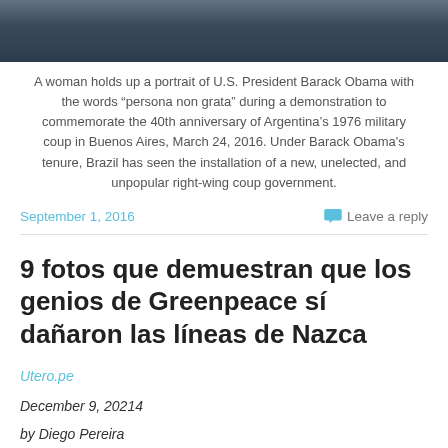[Figure (photo): Dark photo strip showing a crowd of people]
A woman holds up a portrait of U.S. President Barack Obama with the words “persona non grata” during a demonstration to commemorate the 40th anniversary of Argentina’s 1976 military coup in Buenos Aires, March 24, 2016. Under Barack Obama's tenure, Brazil has seen the installation of a new, unelected, and unpopular right-wing coup government.
September 1, 2016
Leave a reply
9 fotos que demuestran que los genios de Greenpeace sí dañaron las líneas de Nazca
Utero.pe
December 9, 20214
by Diego Pereira